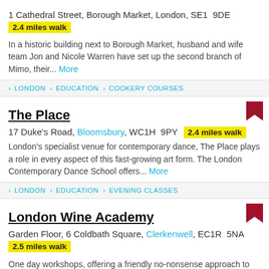1 Cathedral Street, Borough Market, London, SE1 9DE
2.4 miles walk
In a historic building next to Borough Market, husband and wife team Jon and Nicole Warren have set up the second branch of Mimo, their... More
› LONDON › EDUCATION › COOKERY COURSES
The Place
17 Duke's Road, Bloomsbury, WC1H 9PY  2.4 miles walk
London's specialist venue for contemporary dance, The Place plays a role in every aspect of this fast-growing art form. The London Contemporary Dance School offers... More
› LONDON › EDUCATION › EVENING CLASSES
London Wine Academy
Garden Floor, 6 Coldbath Square, Clerkenwell, EC1R 5NA
2.5 miles walk
One day workshops, offering a friendly no-nonsense approach to